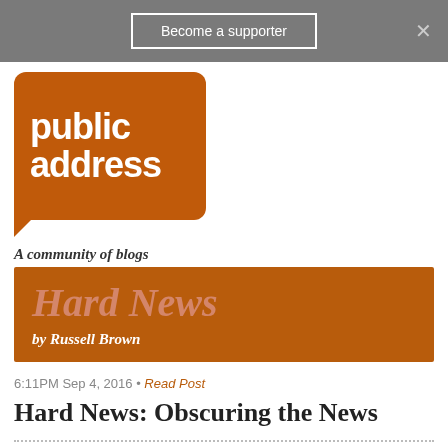Become a supporter
[Figure (logo): Public Address logo — brown speech bubble with 'public address' text in white and tagline 'A community of blogs']
[Figure (logo): Hard News by Russell Brown banner — brown background with italic 'Hard News' and 'by Russell Brown' text]
6:11PM Sep 4, 2016 • Read Post
Hard News: Obscuring the News
107 RESPONSES
Subscribe by
← Older  1  2  3 4 5  Newer →